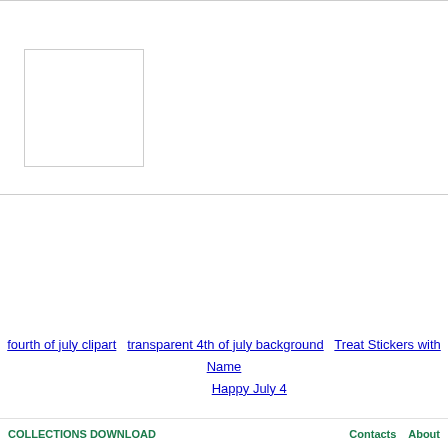[Figure (photo): White/blank image placeholder rectangle in the top-left of the page header area]
fourth of july clipart   transparent 4th of july background   Treat Stickers with Name   Happy July 4
Contacts   About